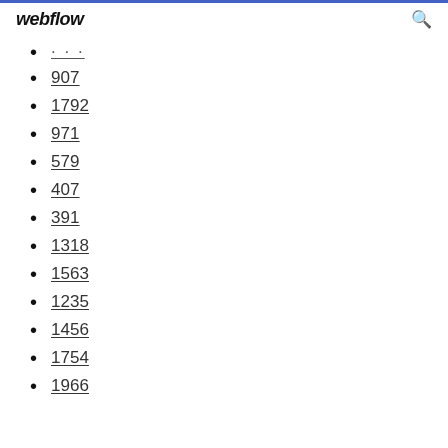webflow
...
907
1792
971
579
407
391
1318
1563
1235
1456
1754
1966